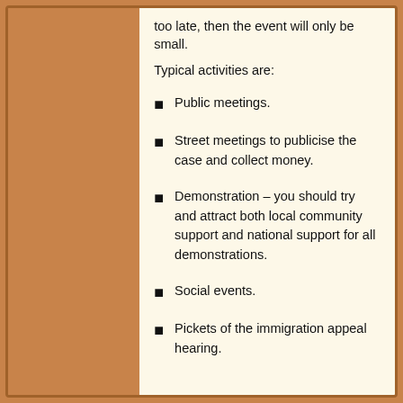too late, then the event will only be small.
Typical activities are:
Public meetings.
Street meetings to publicise the case and collect money.
Demonstration – you should try and attract both local community support and national support for all demonstrations.
Social events.
Pickets of the immigration appeal hearing.